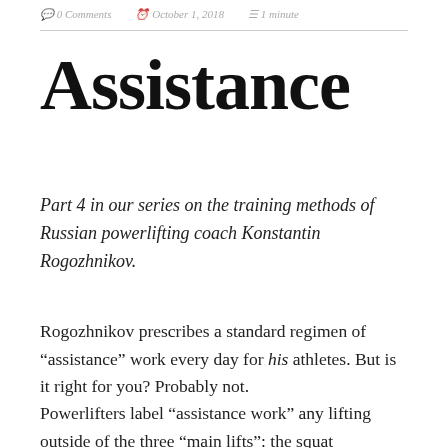0 Comments   October 1, 2018   1 minute
Assistance
Part 4 in our series on the training methods of Russian powerlifting coach Konstantin Rogozhnikov.
Rogozhnikov prescribes a standard regimen of “assistance” work every day for his athletes. But is it right for you? Probably not.
Powerlifters label “assistance work” any lifting outside of the three “main lifts”: the squat